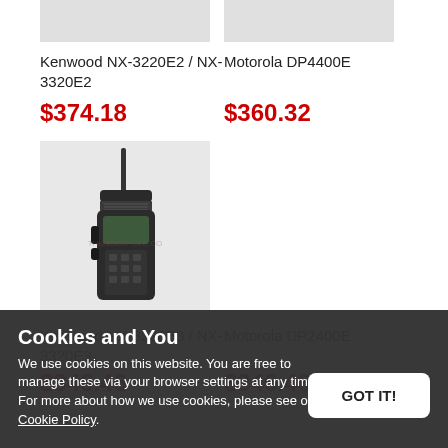[Figure (photo): Top portion of two radio product images cropped at top]
Kenwood NX-3220E2 / NX-3320E2
$374.18
Motorola DP4400E
$360.32
[Figure (photo): Kenwood handheld walkie-talkie radio with antenna, dark body, watermarked product image on light grey background]
Kenwood NX-3220E3 / NX-3320E3
Motorola DP2400E
$346.46
$346.46
Cookies and You
We use cookies on this website. You are free to manage these via your browser settings at any time. For more about how we use cookies, please see our Cookie Policy.